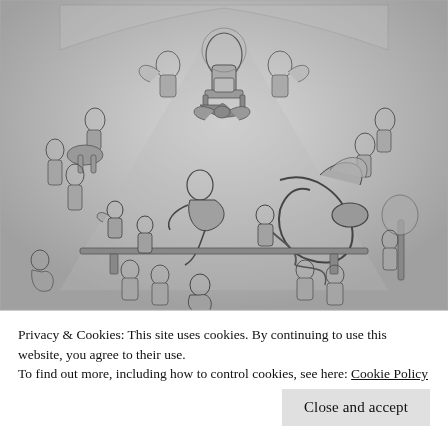[Figure (illustration): Black and white engraving or relief sculpture depicting a complex religious or mythological scene. At the top center, a seated figure (possibly a deity or judge) on a throne, flanked by angels and figures. The middle section shows a dramatic struggle with figures, a serpent/dragon, and chaotic battle scene. The lower section shows more figures in various poses, some fallen. The entire composition has a triangular or pyramidal arrangement typical of classical allegorical art.]
Privacy & Cookies: This site uses cookies. By continuing to use this website, you agree to their use.
To find out more, including how to control cookies, see here: Cookie Policy
Close and accept